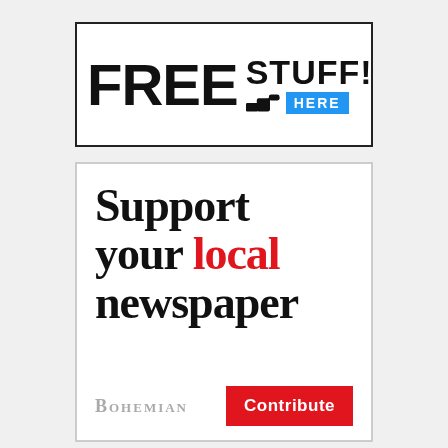[Figure (infographic): Advertisement banner with 'FREE STUFF! HERE' text and a pointing hand icon with a blue HERE badge]
[Figure (infographic): Advertisement for Bohemian newspaper: 'Support your local newspaper' with Bohemian logo and red Contribute button]
[Figure (infographic): Partial bottom section showing 'This' text and Bohemian magazine thumbnail]